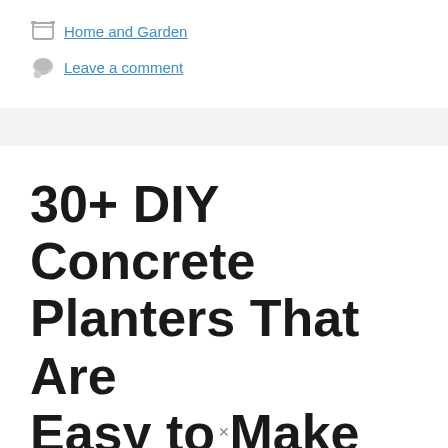Home and Garden
Leave a comment
30+ DIY Concrete Planters That Are Easy to Make
August 31, 2021 by Shreya